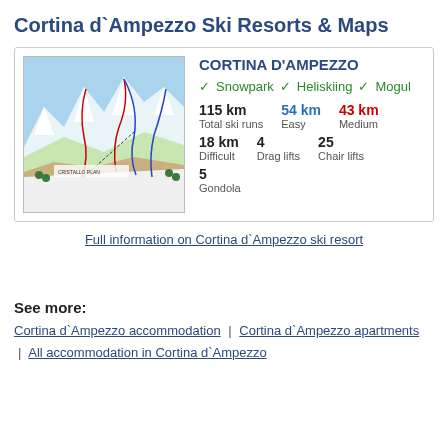Cortina d`Ampezzo Ski Resorts & Maps
[Figure (map): Ski trail map of Cortina d'Ampezzo showing mountain terrain, ski runs in red and blue, gondola routes, and labeled peaks over a snow-covered landscape illustration.]
CORTINA D'AMPEZZO
✓ Snowpark ✓ Heliskiing ✓ Mogul
115 km Total ski runs | 54 km Easy | 43 km Medium
18 km Difficult | 4 Drag lifts | 25 Chair lifts
5 Gondola
Full information on Cortina d`Ampezzo ski resort
See more:
Cortina d`Ampezzo accommodation  |  Cortina d`Ampezzo apartments  |  All accommodation in Cortina d`Ampezzo